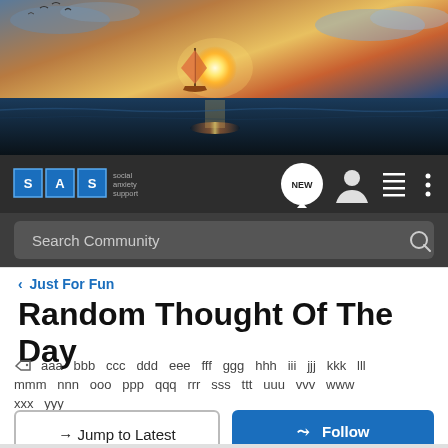[Figure (photo): Hero banner showing a sailboat on the ocean at sunset with dramatic sky and golden reflections on the water]
[Figure (screenshot): Navigation bar with SAS (Social Anxiety Support) logo, NEW chat bubble icon, list icon, user icon, and more options icon]
[Figure (screenshot): Search bar with placeholder text 'Search Community' and a search icon on dark background]
< Just For Fun
Random Thought Of The Day
aaa bbb ccc ddd eee fff ggg hhh iii jjj kkk lll mmm nnn ooo ppp qqq rrr sss ttt uuu vvv www xxx yyy
→ Jump to Latest
+ Follow